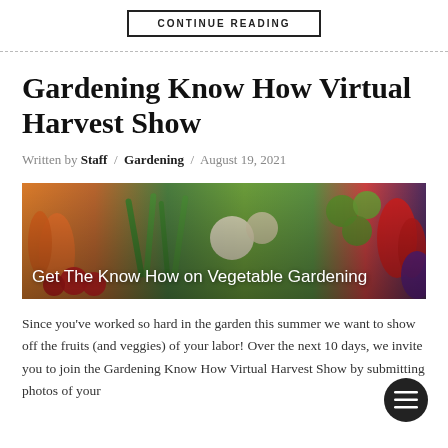CONTINUE READING
Gardening Know How Virtual Harvest Show
Written by Staff / Gardening / August 19, 2021
[Figure (photo): A colorful banner photograph showing a variety of fresh vegetables including carrots, tomatoes, green beans, peppers, eggplant, and Brussels sprouts, with white text overlay reading 'Get The Know How on Vegetable Gardening']
Since you've worked so hard in the garden this summer we want to show off the fruits (and veggies) of your labor! Over the next 10 days, we invite you to join the Gardening Know How Virtual Harvest Show by submitting photos of your